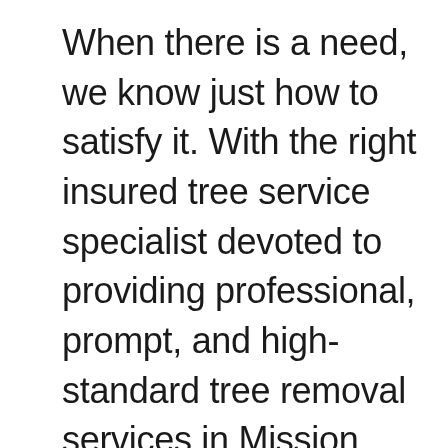When there is a need, we know just how to satisfy it. With the right insured tree service specialist devoted to providing professional, prompt, and high-standard tree removal services in Mission Canyon, Ca, you can never go wrong.  This is why we offer the best professional tree trimming, tree removal, and stump removal services for your residential and commercial